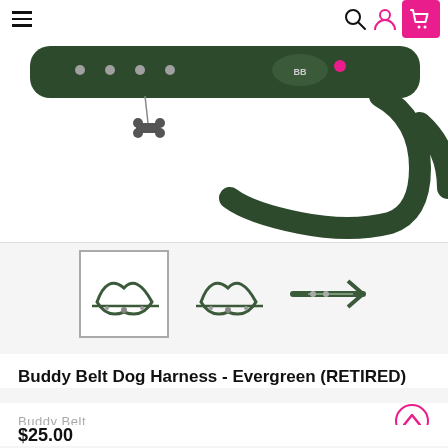Navigation bar with hamburger menu, search, user, and cart icons
[Figure (photo): Product photo of Buddy Belt Dog Harness in Evergreen color, showing a dark green leather harness with metal hardware and bone-shaped charm, partially cropped view]
[Figure (photo): Three thumbnail images of the Buddy Belt Dog Harness - Evergreen: first thumbnail selected/active showing front view, second showing similar angle, third showing side/strap view]
Buddy Belt Dog Harness - Evergreen (RETIRED)
Buddy Belt
$25.00